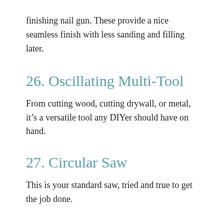finishing nail gun. These provide a nice seamless finish with less sanding and filling later.
26. Oscillating Multi-Tool
From cutting wood, cutting drywall, or metal, it's a versatile tool any DIYer should have on hand.
27. Circular Saw
This is your standard saw, tried and true to get the job done.